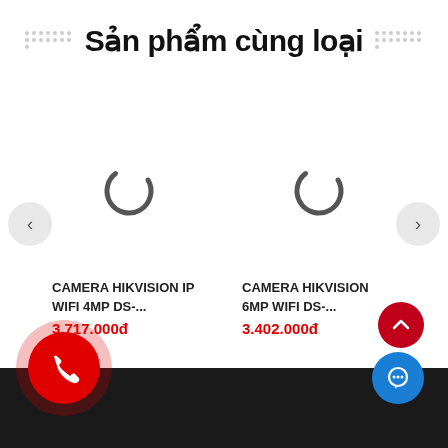Sản phẩm cùng loại
[Figure (illustration): Loading spinner (arc) for product image placeholder, left card]
[Figure (illustration): Loading spinner (arc) for product image placeholder, right card]
CAMERA HIKVISION IP WIFI 4MP DS-...
3.717.000đ
CAMERA HIKVISION 6MP WIFI DS-...
3.402.000đ